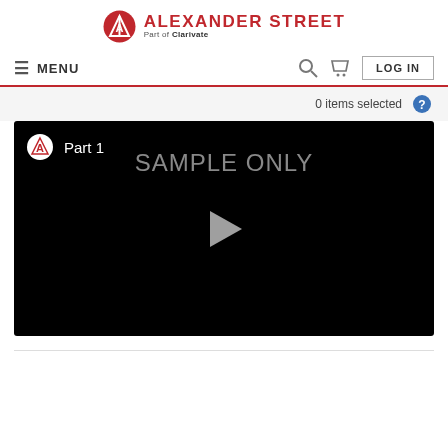ALEXANDER STREET Part of Clarivate
≡ MENU
0 items selected
[Figure (screenshot): Video player with black background showing 'Part 1' label, 'SAMPLE ONLY' watermark text, Alexander Street logo top-left, and a triangular play button in the center.]